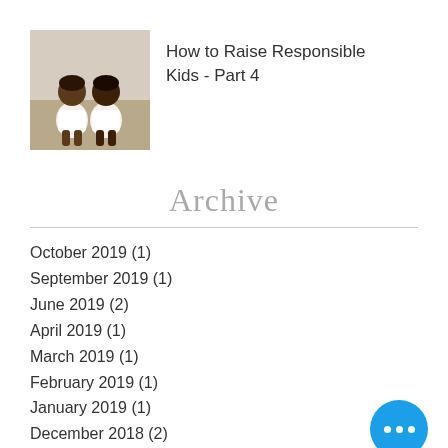[Figure (photo): Thumbnail photo of two children sitting together]
How to Raise Responsible Kids - Part 4
Archive
October 2019 (1)
September 2019 (1)
June 2019 (2)
April 2019 (1)
March 2019 (1)
February 2019 (1)
January 2019 (1)
December 2018 (2)
November 2018 (3)
March 2018 (1)
February 2015 (1)